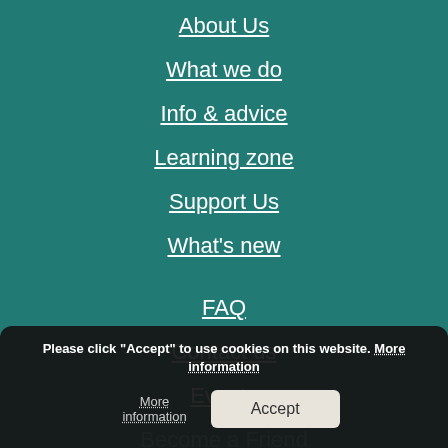About Us
What we do
Info & advice
Learning zone
Support Us
What's new
FAQ
Contact us
Events
Become a Friend
Please click "Accept" to use cookies on this website. More information Accept